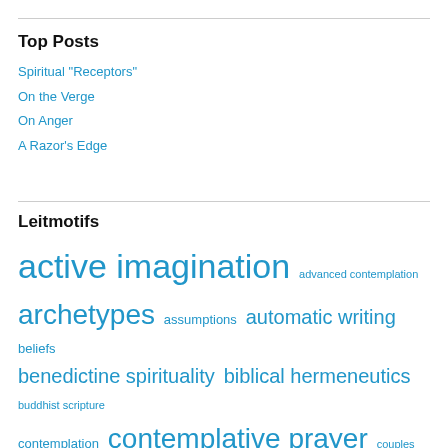Top Posts
Spiritual "Receptors"
On the Verge
On Anger
A Razor's Edge
Leitmotifs
active imagination  advanced contemplation  archetypes  assumptions  automatic writing  beliefs  benedictine spirituality  biblical hermeneutics  buddhist scripture  contemplation  contemplative prayer  couples meditation  creative liturgy  creative spirituality  dharma